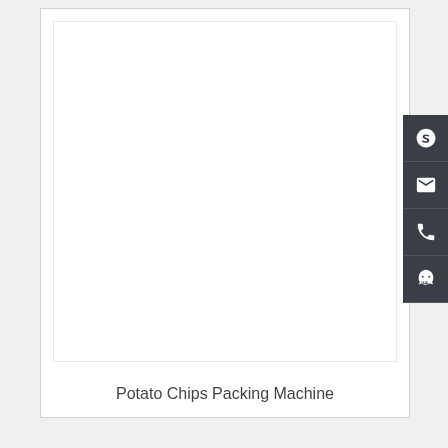[Figure (photo): Product card showing Potato Chips Packing Machine with a white image area and product label at the bottom]
Potato Chips Packing Machine
[Figure (infographic): Vertical contact bar with four dark icons: Skype, email/envelope, phone, and QQ/chat icon]